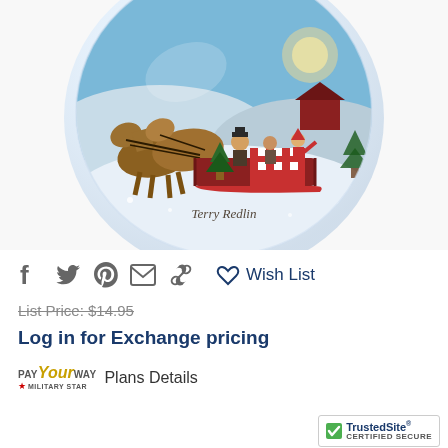[Figure (photo): A glass ornament or paperweight featuring a winter scene by Terry Redlin showing two draft horses pulling a sleigh with people and a Christmas tree through a snowy landscape. The artist signature 'Terry Redlin' is visible on the ornament.]
f  (twitter bird)  (pinterest P)  (envelope)  (link icon)    (heart) Wish List
List Price: $14.95
Log in for Exchange pricing
PAY Your WAY Plans Details
[Figure (logo): TrustedSite CERTIFIED SECURE badge with green checkmark]
TrustedSite CERTIFIED SECURE